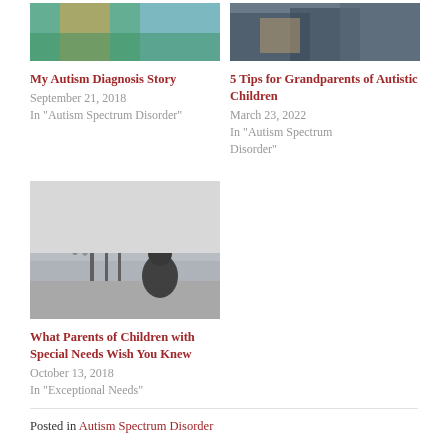[Figure (photo): Partial photo of child with colorful items, top-left thumbnail]
[Figure (photo): Partial photo of children on couch, top-right thumbnail]
My Autism Diagnosis Story
September 21, 2018
In "Autism Spectrum Disorder"
5 Tips for Grandparents of Autistic Children
March 23, 2022
In "Autism Spectrum Disorder"
[Figure (photo): Black and white photo of child looking at water/dock scene]
What Parents of Children with Special Needs Wish You Knew
October 13, 2018
In "Exceptional Needs"
Posted in Autism Spectrum Disorder